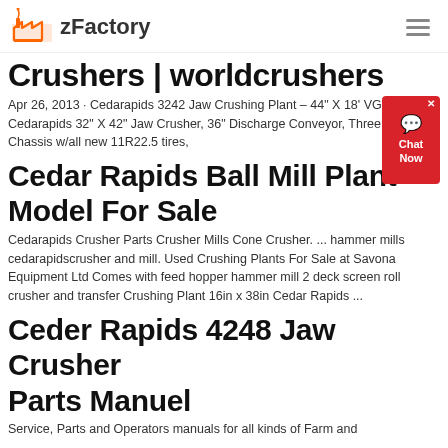zFactory
Crushers | worldcrushers
Apr 26, 2013 · Cedarapids 3242 Jaw Crushing Plant – 44" X 18' VGF, Cedarapids 32" X 42" Jaw Crusher, 36" Discharge Conveyor, Three Ax Chassis w/all new 11R22.5 tires,
Cedar Rapids Ball Mill Plant Model For Sale
Cedarapids Crusher Parts Crusher Mills Cone Crusher. ... hammer mills cedarapidscrusher and mill. Used Crushing Plants For Sale at Savona Equipment Ltd Comes with feed hopper hammer mill 2 deck screen roll crusher and transfer Crushing Plant 16in x 38in Cedar Rapids ...
Ceder Rapids 4248 Jaw Crusher Parts Manuel
Service, Parts and Operators manuals for all kinds of Farm and